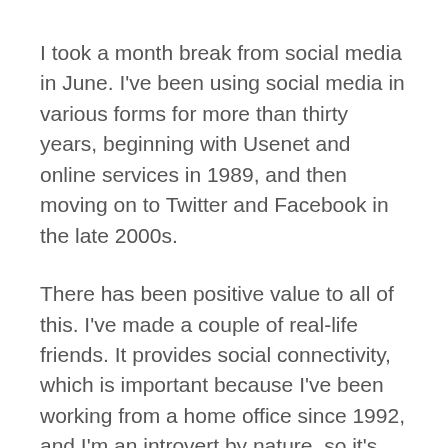I took a month break from social media in June. I've been using social media in various forms for more than thirty years, beginning with Usenet and online services in 1989, and then moving on to Twitter and Facebook in the late 2000s.
There has been positive value to all of this. I've made a couple of real-life friends. It provides social connectivity, which is important because I've been working from a home office since 1992, and I'm an introvert by nature, so it's easy for me to fall into isolation.
But I no longer liked what social media was doing to my brain. It felt like a large portion of my daily energy was spent doing something that was not bringing me any value and was adding stress to my